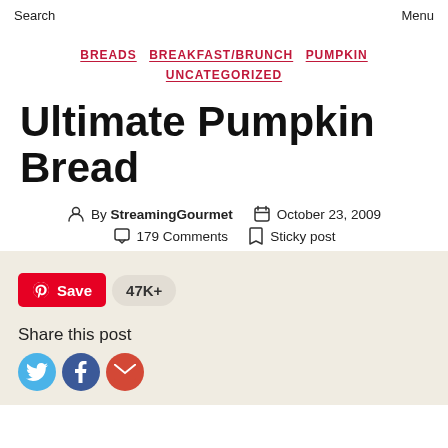Search    Menu
BREADS  BREAKFAST/BRUNCH  PUMPKIN  UNCATEGORIZED
Ultimate Pumpkin Bread
By StreamingGourmet   October 23, 2009
179 Comments   Sticky post
Save  47K+
Share this post